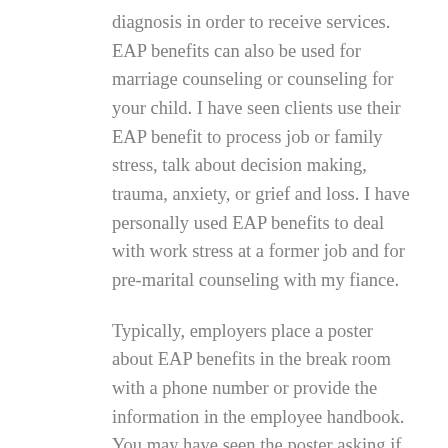diagnosis in order to receive services. EAP benefits can also be used for marriage counseling or counseling for your child. I have seen clients use their EAP benefit to process job or family stress, talk about decision making, trauma, anxiety, or grief and loss. I have personally used EAP benefits to deal with work stress at a former job and for pre-marital counseling with my fiance.
Typically, employers place a poster about EAP benefits in the break room with a phone number or provide the information in the employee handbook. You may have seen the poster asking if you have a substance abuse issue or are depressed and may have completely overlooked it, thinking it wasn't for you. The toll free number to call is connected to the company who provides the EAP services. All services are completely confidential, so no one from your work will know you are utilizing the benefits.